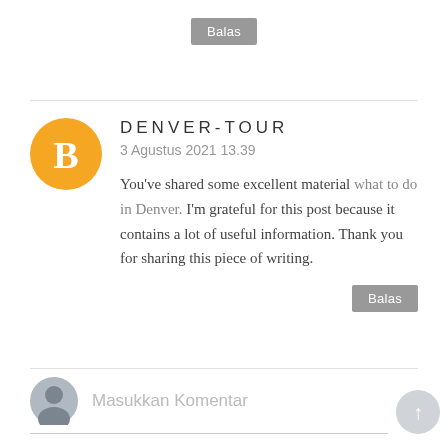Balas
DENVER-TOUR
3 Agustus 2021 13.39
You've shared some excellent material what to do in Denver. I'm grateful for this post because it contains a lot of useful information. Thank you for sharing this piece of writing.
Balas
Masukkan Komentar